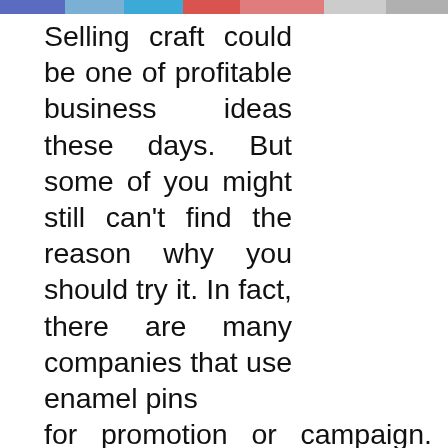[Figure (infographic): Horizontal colored bar strip across the top of the page with segments in blue, light blue, cyan, red, salmon, light gray, and gray]
Selling craft could be one of profitable business ideas these days. But some of you might still can't find the reason why you should try it. In fact, there are many companies that use enamel pins for promotion or campaign. Along with these needs, creating enamel pins becomes a promising business field to start. You can learn how to make enamel pins start your own business. But before that, you need to remember that there are also